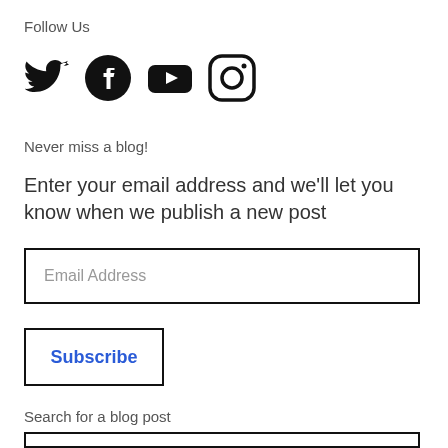Follow Us
[Figure (illustration): Social media icons: Twitter (bird), Facebook (f circle), YouTube (play button rectangle), Instagram (camera circle)]
Never miss a blog!
Enter your email address and we’ll let you know when we publish a new post
Email Address
Subscribe
Search for a blog post